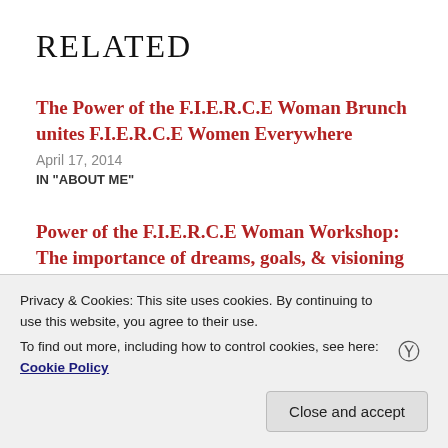Related
The Power of the F.I.E.R.C.E Woman Brunch unites F.I.E.R.C.E Women Everywhere
April 17, 2014
IN "ABOUT ME"
Power of the F.I.E.R.C.E Woman Workshop: The importance of dreams, goals, & visioning
June 16, 2014
Privacy & Cookies: This site uses cookies. By continuing to use this website, you agree to their use.
To find out more, including how to control cookies, see here: Cookie Policy
Close and accept